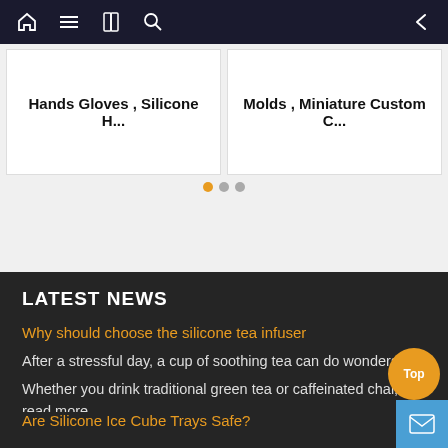Navigation bar with home, menu, book, search icons and back arrow
Hands Gloves , Silicone H...
Molds , Miniature Custom C...
LATEST NEWS
Why should choose the silicone tea infuser
After a stressful day, a cup of soothing tea can do wonders.
Whether you drink traditional green tea or caffeinated chai, you read more
Are Silicone Ice Cube Trays Safe?
Summer is here, and that means you'll be spending a fair amount of time trying to stay cool. One of the quickest ways